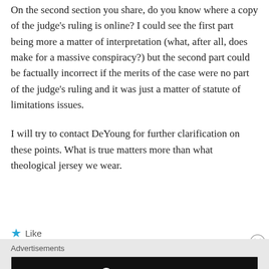On the second section you share, do you know where a copy of the judge's ruling is online? I could see the first part being more a matter of interpretation (what, after all, does make for a massive conspiracy?) but the second part could be factually incorrect if the merits of the case were no part of the judge's ruling and it was just a matter of statute of limitations issues.
I will try to contact DeYoung for further clarification on these points. What is true matters more than what theological jersey we wear.
Like
Advertisements
[Figure (logo): Longreads advertisement banner with red circle logo and tagline 'Read anything great lately?' on a black background]